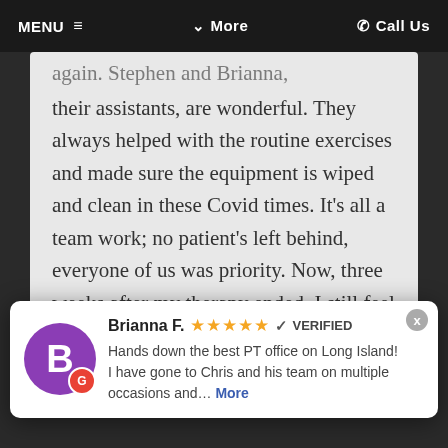MENU ≡   ∨ More   ☎ Call Us
again. Stephen and Brianna, their assistants, are wonderful. They always helped with the routine exercises and made sure the equipment is wiped and clean in these Covid times. It's all a team work; no patient's left behind, everyone of us was priority. Now, three weeks after my therapy ended, I still feel great, back to normal, and
Therapy is the place to go to,
[Figure (screenshot): Review popup card showing Brianna F. with 5-star rating, VERIFIED badge, Google G badge, and review text: Hands down the best PT office on Long Island! I have gone to Chris and his team on multiple occasions and... More]